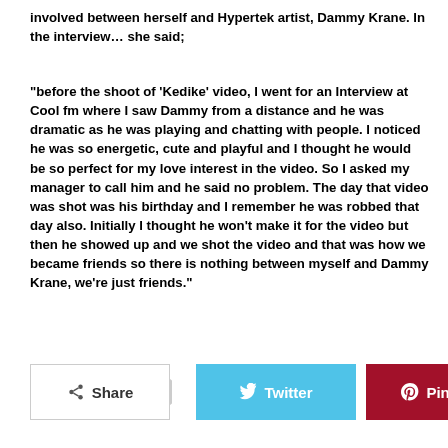involved between herself and Hypertek artist, Dammy Krane. In the interview… she said;
“before the shoot of ‘Kedike’ video, I went for an Interview at Cool fm where I saw Dammy from a distance and he was dramatic as he was playing and chatting with people. I noticed he was so energetic, cute and playful and I thought he would be so perfect for my love interest in the video. So I asked my manager to call him and he said no problem. The day that video was shot was his birthday and I remember he was robbed that day also. Initially I thought he won’t make it for the video but then he showed up and we shot the video and that was how we became friends so there is nothing between myself and Dammy Krane, we’re just friends.”
[Figure (other): Social media sharing buttons: Share, Twitter, Pinterest]